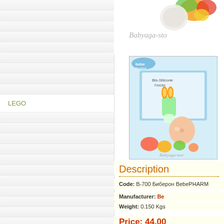[Figure (screenshot): Left navigation sidebar with striped rows, showing menu items: LEGO, Bricks for children, Puzzles for children]
LEGO
Bricks for children
Puzzles for children
[Figure (photo): Toy and colorful objects in top right corner with BabyYaga-store watermark]
[Figure (photo): BebePHARM product - Bis-Silicone Feeder baby product box showing infant using feeder]
Description
Code: B-700 Биберон BebePHARM
Manufacturer: Be
Weight: 0.150 Kgs